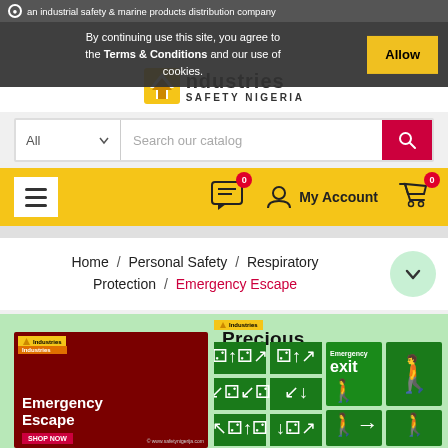an industrial safety & marine products distribution company
By continuing use this site, you agree to the Terms & Conditions and our use of cookies.
[Figure (logo): Industries Safety Nigeria logo with yellow chevron icon]
Search our catalog — All categories dropdown and search button
[Figure (screenshot): Navigation bar with hamburger menu, chat icon (badge 0), My Account, cart (badge 0) on yellow background]
Home / Personal Safety / Respiratory Protection / Emergency Escape
[Figure (photo): Emergency Escape product banner showing exit signs and emergency escape imagery on green background]